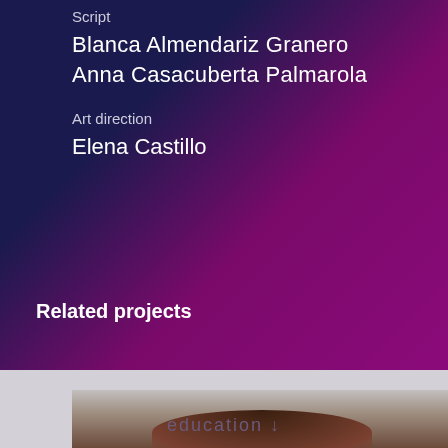Script
Blanca Almendariz Granero
Anna Casacuberta Palmarola
Art direction
Elena Castillo
Related projects
[Figure (photo): Partial view of a person's head/hair at the bottom of the page]
education ↓